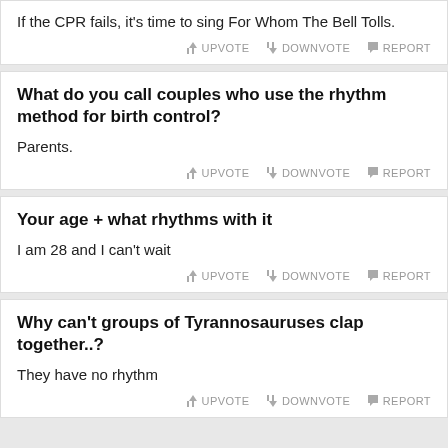If the CPR fails, it's time to sing For Whom The Bell Tolls.
UPVOTE  DOWNVOTE  REPORT
What do you call couples who use the rhythm method for birth control?
Parents.
UPVOTE  DOWNVOTE  REPORT
Your age + what rhythms with it
I am 28 and I can't wait
UPVOTE  DOWNVOTE  REPORT
Why can't groups of Tyrannosauruses clap together..?
They have no rhythm
UPVOTE  DOWNVOTE  REPORT